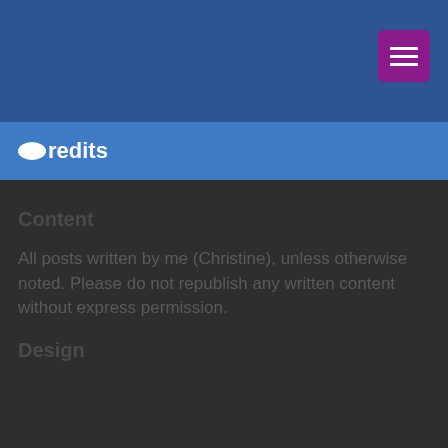[Figure (other): Navigation menu hamburger button — purple rounded rectangle with three white horizontal lines, positioned in the top-right of a dark blue header area]
Credits
Content
All posts written by me (Christine), unless otherwise noted. Please do not republish any written content without express permission.
Design